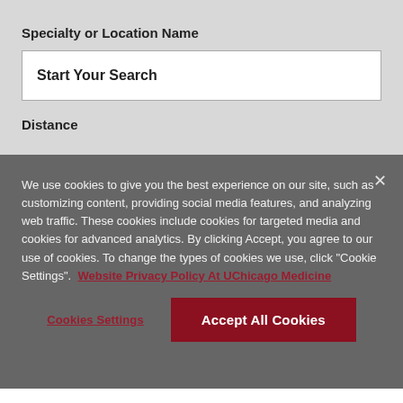Specialty or Location Name
Start Your Search
Distance
We use cookies to give you the best experience on our site, such as customizing content, providing social media features, and analyzing web traffic. These cookies include cookies for targeted media and cookies for advanced analytics. By clicking Accept, you agree to our use of cookies. To change the types of cookies we use, click "Cookie Settings".  Website Privacy Policy At UChicago Medicine
Cookies Settings
Accept All Cookies